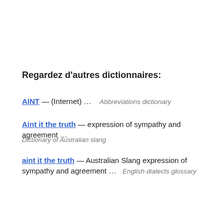Regardez d'autres dictionnaires:
AINT — (Internet) …   Abbreviations dictionary
Aint it the truth — expression of sympathy and agreement …
Dictionary of Australian slang
aint it the truth — Australian Slang expression of sympathy and agreement …   English dialects glossary